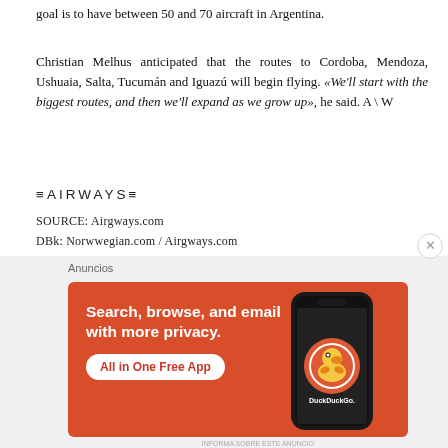goal is to have between 50 and 70 aircraft in Argentina.
Christian Melhus anticipated that the routes to Cordoba, Mendoza, Ushuaia, Salta, Tucumán and Iguazú will begin flying. «We'll start with the biggest routes, and then we'll expand as we grow up», he said. A \ W
≡AIRWAYS≡
SOURCE: Airgways.com
DBk: Norwwegian.com / Airgways.com
AW-POST: 201711180542AR
AW AIRGWAYS®
[Figure (screenshot): DuckDuckGo advertisement banner with orange background reading 'Search, browse, and email with more privacy. All in One Free App' with a phone graphic and DuckDuckGo logo]